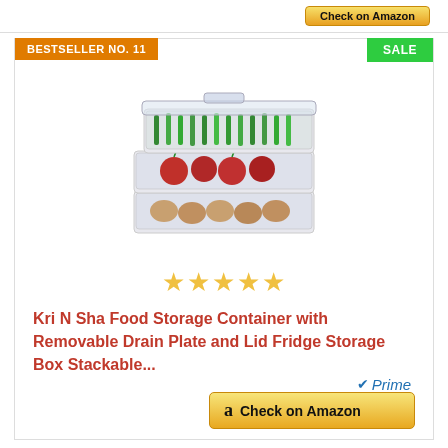BESTSELLER NO. 11
SALE
[Figure (photo): Stackable clear plastic food storage containers with removable drain plates and lids, containing green vegetables, red fruits/tomatoes, and eggs]
[Figure (other): Five gold star rating icons]
Kri N Sha Food Storage Container with Removable Drain Plate and Lid Fridge Storage Box Stackable...
Prime
Check on Amazon